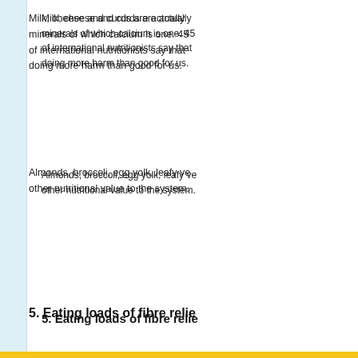Milk, cheese and curds are actually minerals of which calcium is one. 45 of international nutritionists say that doing more harm than good for us.
Almonds, broccoli, egg yolk, leafy ve other nutritional value to the system.
5. Eating loads of fibre relie
Fibre is essential as it draws water in drink enough water, you can still be swells in the bowel, thereby making donâ€™t drink enough water, fibre c your urine is running clear.